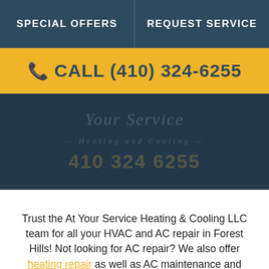SPECIAL OFFERS | REQUEST SERVICE
CALL (410) 324-6255
[Figure (photo): Dark blue-tinted hero image showing HVAC technicians with company logo overlay reading 'Your Service Heating and Cooling' and phone number 410 324 6255]
Trust the At Your Service Heating & Cooling LLC team for all your HVAC and AC repair in Forest Hills! Not looking for AC repair? We also offer heating repair as well as AC maintenance and